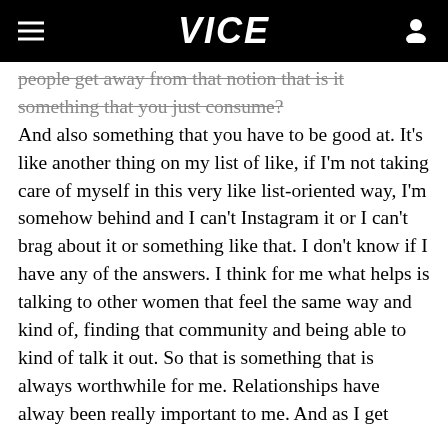VICE
people get away from that notion that is it something that you just consume? And also something that you have to be good at. It's like another thing on my list of like, if I'm not taking care of myself in this very like list-oriented way, I'm somehow behind and I can't Instagram it or I can't brag about it or something like that. I don't know if I have any of the answers. I think for me what helps is talking to other women that feel the same way and kind of, finding that community and being able to kind of talk it out. So that is something that is always worthwhile for me. Relationships have alway been really important to me. And as I get